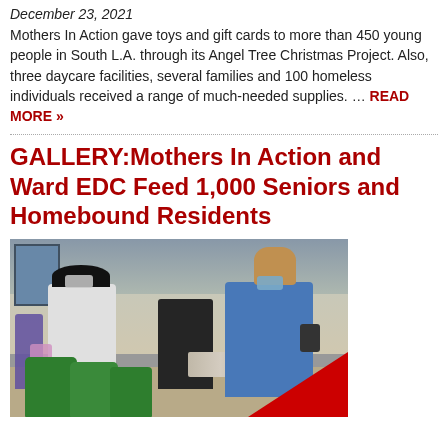December 23, 2021
Mothers In Action gave toys and gift cards to more than 450 young people in South L.A. through its Angel Tree Christmas Project. Also, three daycare facilities, several families and 100 homeless individuals received a range of much-needed supplies. … READ MORE »
GALLERY:Mothers In Action and Ward EDC Feed 1,000 Seniors and Homebound Residents
[Figure (photo): People wearing masks handing out green bags of supplies and canned goods indoors.]